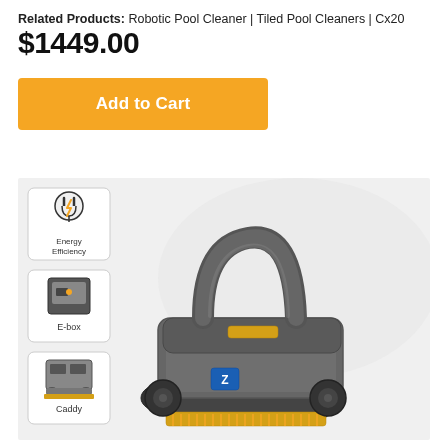Related Products: Robotic Pool Cleaner | Tiled Pool Cleaners | Cx20
$1449.00
Add to Cart
[Figure (photo): Robotic pool cleaner product image showing a grey robotic pool cleaner with yellow brushes and tracks, a handle on top, a blue logo on the front, and three feature icons on the left side showing Energy Efficiency, E-box, and Caddy]